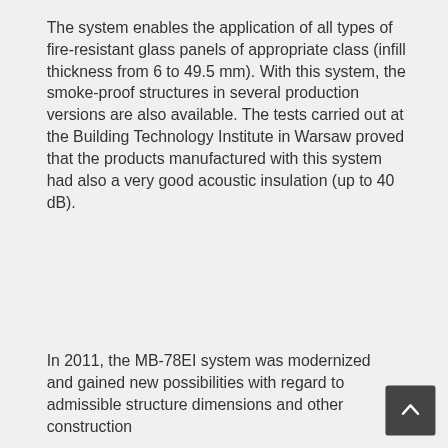The system enables the application of all types of fire-resistant glass panels of appropriate class (infill thickness from 6 to 49.5 mm). With this system, the smoke-proof structures in several production versions are also available. The tests carried out at the Building Technology Institute in Warsaw proved that the products manufactured with this system had also a very good acoustic insulation (up to 40 dB).
In 2011, the MB-78EI system was modernized and gained new possibilities with regard to admissible structure dimensions and other construction